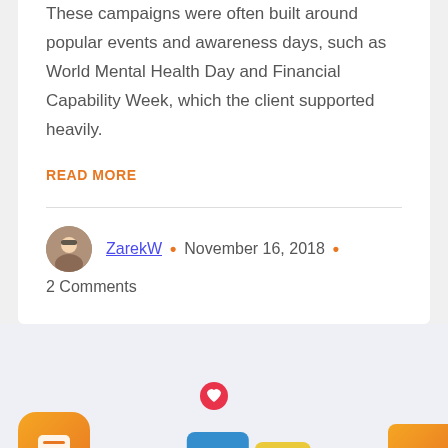These campaigns were often built around popular events and awareness days, such as World Mental Health Day and Financial Capability Week, which the client supported heavily.
READ MORE
ZarekW • November 16, 2018 • 2 Comments
[Figure (other): Bottom section with orange chat bubble button, orange scroll-to-top arrow button, a heart icon, and partial social media card icons visible]